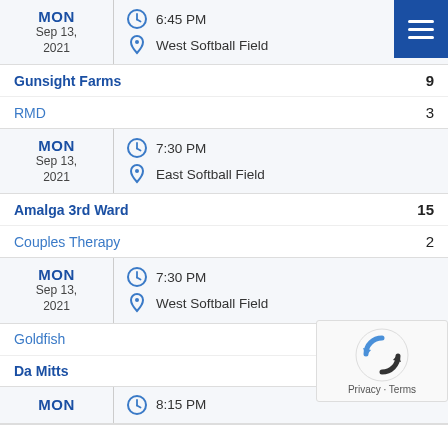| MON Sep 13, 2021 | 6:45 PM | West Softball Field |
| Gunsight Farms | 9 |
| RMD | 3 |
| MON Sep 13, 2021 | 7:30 PM | East Softball Field |
| Amalga 3rd Ward | 15 |
| Couples Therapy | 2 |
| MON Sep 13, 2021 | 7:30 PM | West Softball Field |
| Goldfish | 3 |
| Da Mitts |  |
| MON | 8:15 PM |